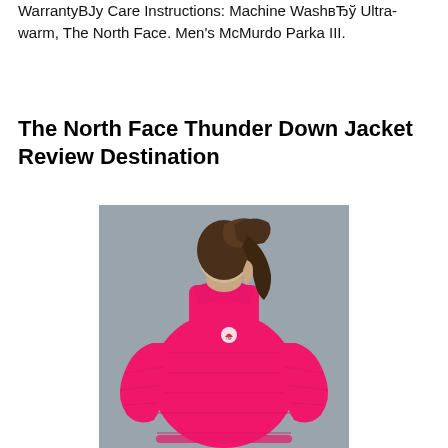WarrantyВЈу Care Instructions: Machine WashвЂў Ultra-warm, The North Face. Men's McMurdo Parka III.
The North Face Thunder Down Jacket Review Destination
[Figure (photo): Woman wearing a bright pink North Face down puffer jacket, shown from behind with her hair in a ponytail, against a gray background. The North Face logo is visible on the upper back of the jacket.]